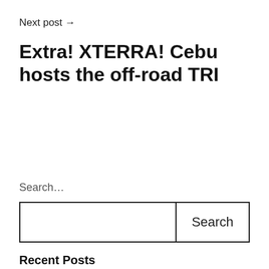Next post →
Extra! XTERRA! Cebu hosts the off-road TRI
Search…
Search
Recent Posts